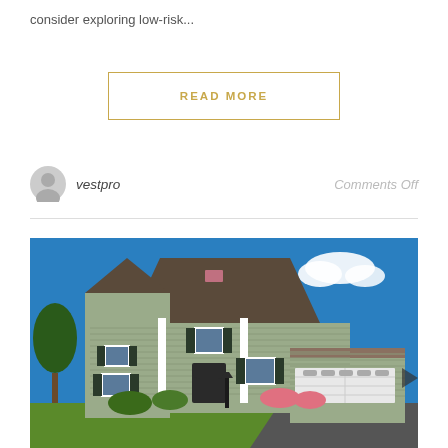consider exploring low-risk...
READ MORE
vestpro
Comments Off
[Figure (photo): Exterior photo of a two-story suburban house with gray-green vinyl siding, dark shutters, brown shingle roof, white garage door, green lawn, flower beds, and blue sky with a cloud in background.]